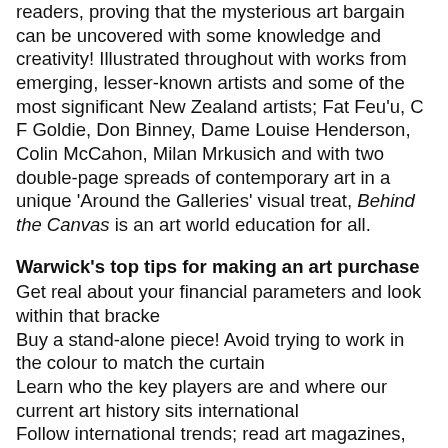readers, proving that the mysterious art bargain can be uncovered with some knowledge and creativity! Illustrated throughout with works from emerging, lesser-known artists and some of the most significant New Zealand artists; Fat Feu'u, C F Goldie, Don Binney, Dame Louise Henderson, Colin McCahon, Milan Mrkusich and with two double-page spreads of contemporary art in a unique 'Around the Galleries' visual treat, Behind the Canvas is an art world education for all.
Warwick's top tips for making an art purchase
Get real about your financial parameters and look within that bracke
Buy a stand-alone piece! Avoid trying to work in the colour to match the curtain
Learn who the key players are and where our current art history sits international
Follow international trends; read art magazines, tracking big purchases, checking auction houses' websites
Establish a relationship with a dealer and get advice from them
Visit your local public gallery to see both permanent and temporary collection